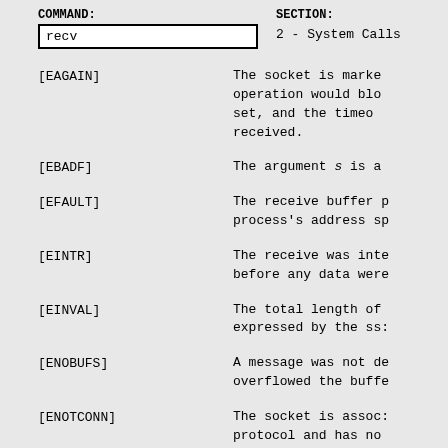COMMAND: recv   SECTION: 2 - System Calls
[EAGAIN]   The socket is marked non-blocking, the operation would block, a timeout was set, and the timeout expired before data were received.
[EBADF]   The argument s is an invalid descriptor.
[EFAULT]   The receive buffer pointer(s) point outside the process's address space.
[EINTR]   The receive was interrupted by delivery of a signal before any data were available.
[EINVAL]   The total length of the I/O is more than can be expressed by the ssize_t return value.
[ENOBUFS]   A message was not delivered because it would have overflowed the buffer.
[ENOTCONN]   The socket is associated with a connection-oriented protocol and has not been connected. See connect(2) and accept(2).